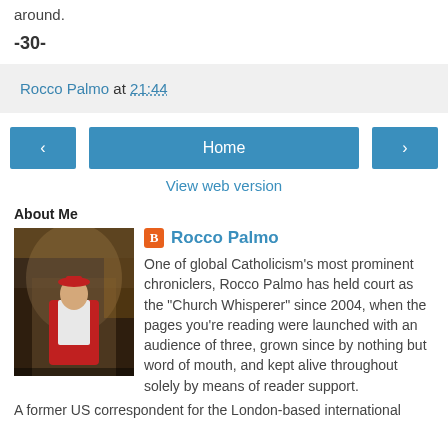around.
-30-
Rocco Palmo at 21:44
‹   Home   ›
View web version
About Me
[Figure (photo): Photo of a person in red and white religious robes standing in an ornate interior]
Rocco Palmo
One of global Catholicism's most prominent chroniclers, Rocco Palmo has held court as the "Church Whisperer" since 2004, when the pages you're reading were launched with an audience of three, grown since by nothing but word of mouth, and kept alive throughout solely by means of reader support.
A former US correspondent for the London-based international